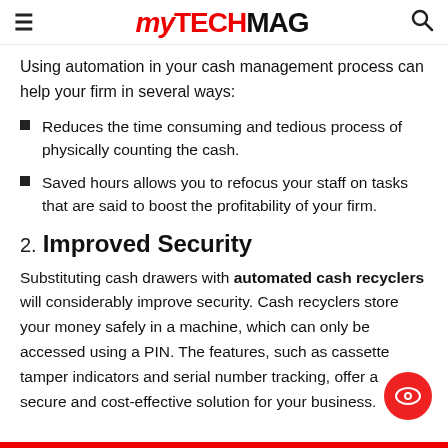myTECHMAG
Using automation in your cash management process can help your firm in several ways:
Reduces the time consuming and tedious process of physically counting the cash.
Saved hours allows you to refocus your staff on tasks that are said to boost the profitability of your firm.
2. Improved Security
Substituting cash drawers with automated cash recyclers will considerably improve security. Cash recyclers store your money safely in a machine, which can only be accessed using a PIN. The features, such as cassette tamper indicators and serial number tracking, offer a secure and cost-effective solution for your business.